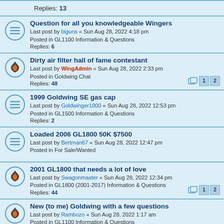Replies: 13
Question for all you knowledgeable Wingers
Last post by biguns « Sun Aug 28, 2022 4:18 pm
Posted in GL1100 Information & Questions
Replies: 6
Dirty air filter hall of fame contestant
Last post by WingAdmin « Sun Aug 28, 2022 2:33 pm
Posted in Goldwing Chat
Replies: 48
1999 Goldwing SE gas cap
Last post by Goldwinger1800 « Sun Aug 28, 2022 12:53 pm
Posted in GL1500 Information & Questions
Replies: 2
Loaded 2006 GL1800 50K $7500
Last post by Bertman67 « Sun Aug 28, 2022 12:47 pm
Posted in For Sale/Wanted
2001 GL1800 that needs a lot of love
Last post by Swagonmaster « Sun Aug 28, 2022 12:34 pm
Posted in GL1800 (2001-2017) Information & Questions
Replies: 44
New (to me) Goldwing with a few questions
Last post by Rambozo « Sun Aug 28, 2022 1:17 am
Posted in GL1100 Information & Questions
Replies: 37